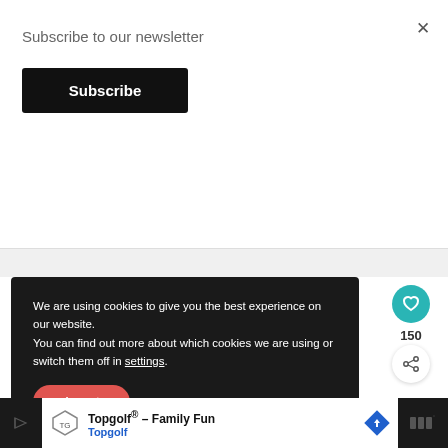Subscribe to our newsletter
Subscribe
×
We are using cookies to give you the best experience on our website. You can find out more about which cookies we are using or switch them off in settings.
Accept
150
WHAT'S NEXT → Vegan Cornbread
[Figure (screenshot): Footer advertisement: Topgolf® - Family Fun, Topgolf logo with blue diamond arrow icon and dark right section]